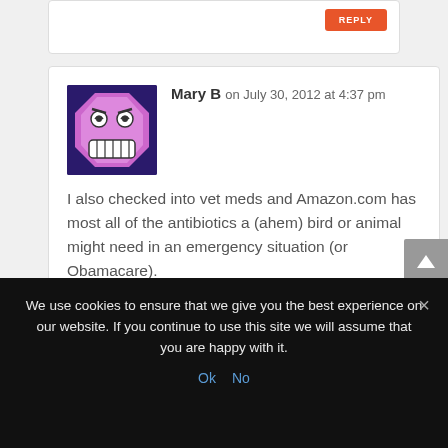[Figure (screenshot): Partial top of a comment card with an orange REPLY button visible in the top right corner.]
Mary B on July 30, 2012 at 4:37 pm
[Figure (illustration): Avatar image: a pink/purple angry cartoon face on a dark blue octagon background.]
I also checked into vet meds and Amazon.com has most all of the antibiotics a (ahem) bird or animal might need in an emergency situation (or  Obamacare).
REPLY
We use cookies to ensure that we give you the best experience on our website. If you continue to use this site we will assume that you are happy with it.
Ok  No